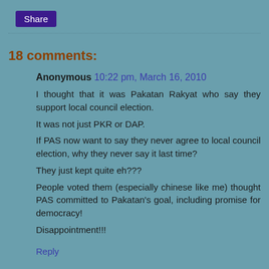Share
18 comments:
Anonymous 10:22 pm, March 16, 2010
I thought that it was Pakatan Rakyat who say they support local council election.
It was not just PKR or DAP.
If PAS now want to say they never agree to local council election, why they never say it last time?
They just kept quite eh???
People voted them (especially chinese like me) thought PAS committed to Pakatan's goal, including promise for democracy!
Disappointment!!!
Reply
Independent 12:38 pm, March 17, 2010